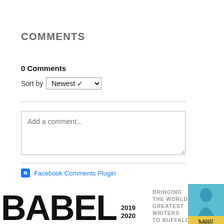COMMENTS
0 Comments
Sort by Newest
Add a comment...
Facebook Comments Plugin
[Figure (logo): BABEL 2019 2020 logo with tagline: BRINGING THE WORLD'S GREATEST WRITERS TO BUFFALO, and a partial photo on the right side]